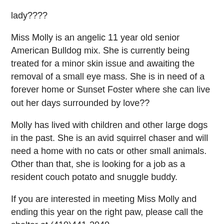lady????
Miss Molly is an angelic 11 year old senior American Bulldog mix. She is currently being treated for a minor skin issue and awaiting the removal of a small eye mass. She is in need of a forever home or Sunset Foster where she can live out her days surrounded by love??
Molly has lived with children and other large dogs in the past. She is an avid squirrel chaser and will need a home with no cats or other small animals. Other than that, she is looking for a job as a resident couch potato and snuggle buddy.
If you are interested in meeting Miss Molly and ending this year on the right paw, please call the shelter at (410)441-2040.